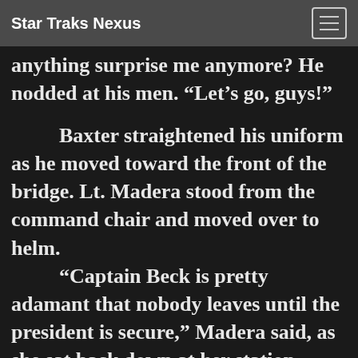Star Traks Nexus
anything surprise me anymore? He nodded at his men. “Let’s go, guys!”
Baxter straightened his uniform as he moved toward the front of the bridge. Lt. Madera stood from the command chair and moved over to helm.
“Captain Beck is pretty adamant that nobody leaves until the president is secure,” Madera said, as she sat back down at her station.
“She is, is she?” Baxter said, folding his arms. He looked back at